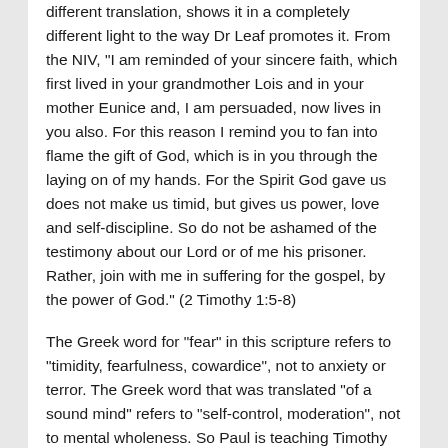different translation, shows it in a completely different light to the way Dr Leaf promotes it. From the NIV, "I am reminded of your sincere faith, which first lived in your grandmother Lois and in your mother Eunice and, I am persuaded, now lives in you also. For this reason I remind you to fan into flame the gift of God, which is in you through the laying on of my hands. For the Spirit God gave us does not make us timid, but gives us power, love and self-discipline. So do not be ashamed of the testimony about our Lord or of me his prisoner. Rather, join with me in suffering for the gospel, by the power of God." (2 Timothy 1:5-8)
The Greek word for "fear" in this scripture refers to "timidity, fearfulness, cowardice", not to anxiety or terror. The Greek word that was translated "of a sound mind" refers to "self-control, moderation", not to mental wholeness. So Paul is teaching Timothy that God doesn't make him timid, but full of power, love and self-control. Paul is simply saying that through the Holy Spirit, we have all the tools: power, love and the control to use them, so we don't have to be afraid.